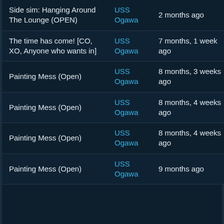| Title | Ship | When | Action |
| --- | --- | --- | --- |
| Side sim: Hanging Around The Lounge (OPEN) | USS Ogawa | 2 months ago | View |
| The time has come! [CO, XO, Anyone who wants in] | USS Ogawa | 7 months, 1 week ago | View |
| Painting Mess (Open) | USS Ogawa | 8 months, 3 weeks ago | View |
| Painting Mess (Open) | USS Ogawa | 8 months, 4 weeks ago | View |
| Painting Mess (Open) | USS Ogawa | 8 months, 4 weeks ago | View |
| Painting Mess (Open) | USS Ogawa | 9 months ago | View |